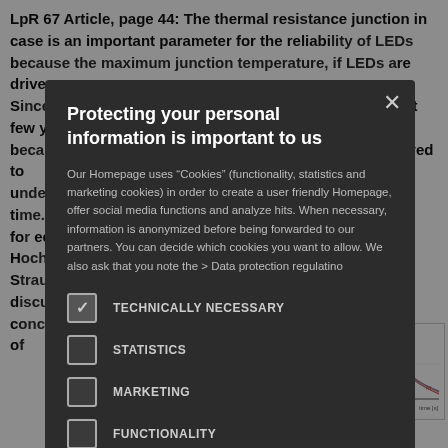LpR 67 Article, page 44: The thermal resistance junction in case is an important parameter for the reliability of LEDs because the maximum junction temperature, if LEDs are driven. Since the cooling technology has improved over the past few years because high-power LEDs became more common, required to understand especially work and time. Christian Elger, Professor for technische Hochschule Maximilian Straubing, present and discuss they explain the concept and the applicability of
[Figure (continuous-plot): Line chart (bottom right corner) showing curves over time axis with log scale, x-axis: 10^-1 to 10^0 time [s], with multiple overlapping curves peaking around 10^-1]
Protecting your personal information is important to us

Our Homepage uses "Cookies" (functionality, statistics and marketing cookies) in order to create a user friendly Homepage, offer social media functions and analyze hits. When necessary, information is anonymized before being forwarded to our partners. You can decide which cookies you want to allow. We also ask that you note the > Data protection regulatino
TECHNICALLY NECESSARY (checked)
STATISTICS
MARKETING
FUNCTIONALITY